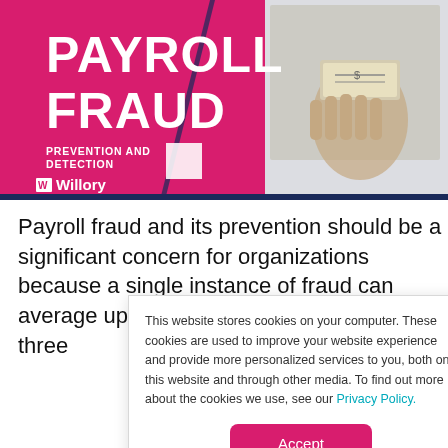[Figure (illustration): Payroll Fraud Prevention and Detection banner by Willory, with pink/magenta left half showing bold white text 'PAYROLL FRAUD' and 'PREVENTION AND DETECTION', Willory logo, and right half showing a hand holding cash money on light grey background. Dark navy border at bottom.]
Payroll fraud and its prevention should be a significant concern for organizations because a single instance of fraud can average up to $70,000 and are often over three
This website stores cookies on your computer. These cookies are used to improve your website experience and provide more personalized services to you, both on this website and through other media. To find out more about the cookies we use, see our Privacy Policy.
Accept